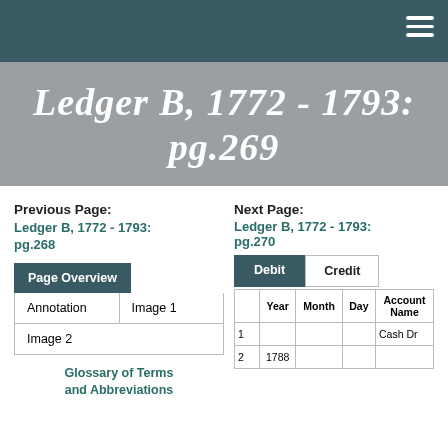☰
Ledger B, 1772 - 1793: pg.269
Previous Page:
Ledger B, 1772 - 1793: pg.268
Next Page:
Ledger B, 1772 - 1793: pg.270
Page Overview
Annotation
Image 1
Image 2
Glossary of Terms and Abbreviations
Debit
Credit
|  | Year | Month | Day | Account Name |
| --- | --- | --- | --- | --- |
| 1 |  |  |  | Cash Dr |
| 2 | 1788 |  |  |  |